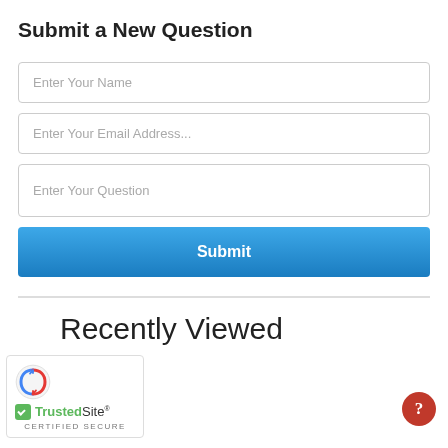Submit a New Question
Enter Your Name
Enter Your Email Address...
Enter Your Question
Submit
Recently Viewed
[Figure (logo): reCAPTCHA logo above TrustedSite certified secure badge]
TrustedSite CERTIFIED SECURE